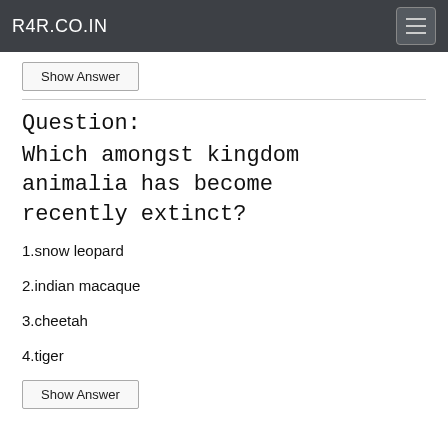R4R.CO.IN
Show Answer
Question: Which amongst kingdom animalia has become recently extinct?
1.snow leopard
2.indian macaque
3.cheetah
4.tiger
Show Answer